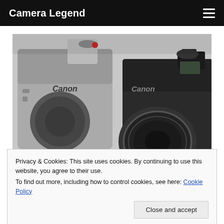Camera Legend
[Figure (photo): Two Canon DSLR/SLR film cameras on a white surface. The left camera is a silver Canon SLR with body cap and the right is a black Canon camera with a lens attached. Watermark reads cameralegend.com.]
Privacy & Cookies: This site uses cookies. By continuing to use this website, you agree to their use.
To find out more, including how to control cookies, see here: Cookie Policy
Close and accept